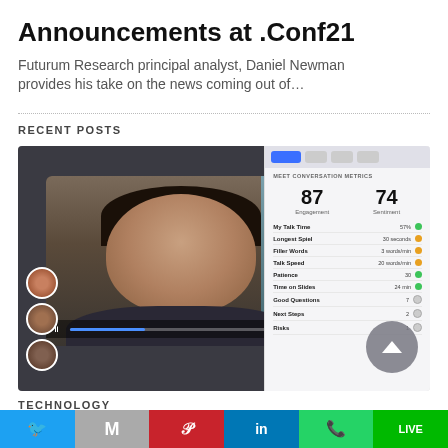Announcements at .Conf21
Futurum Research principal analyst, Daniel Newman provides his take on the news coming out of…
RECENT POSTS
[Figure (screenshot): Screenshot of a video conferencing interface showing a woman smiling in a meeting, alongside a conversation metrics dashboard showing engagement score 87, sentiment score 74, and various metrics like My Talk Time (57%, green), Longest Spiel (30 seconds, yellow), Filler Words (3 words/min, yellow), Talk Speed (20 words/min, yellow), Patience (30, green), Time on Slides (24 min, green), Good Questions (7, gray), Next Steps (2, gray), Risks (1, gray)]
TECHNOLOGY
[Figure (infographic): Social sharing bar with Twitter, Gmail, Pinterest, LinkedIn, WhatsApp, and LINE buttons]